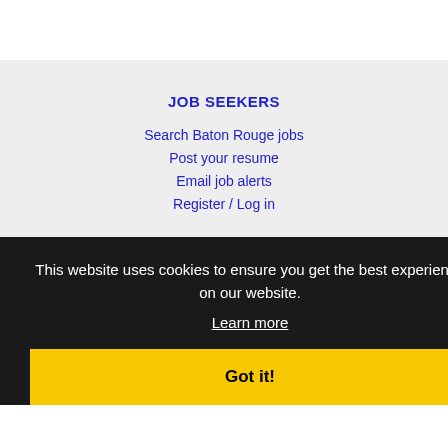JOB SEEKERS
Search Baton Rouge jobs
Post your resume
Email job alerts
Register / Log in
EMPLOYERS
Post jobs
Search resumes
Email resume alerts
Advertise
This website uses cookies to ensure you get the best experience on our website.
Learn more
Got it!